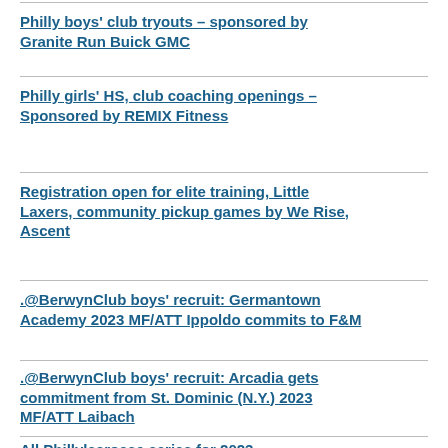Philly boys' club tryouts – sponsored by Granite Run Buick GMC
Philly girls' HS, club coaching openings – Sponsored by REMIX Fitness
Registration open for elite training, Little Laxers, community pickup games by We Rise, Ascent
.@BerwynClub boys' recruit: Germantown Academy 2023 MF/ATT Ippoldo commits to F&M
.@BerwynClub boys' recruit: Arcadia gets commitment from St. Dominic (N.Y.) 2023 MF/ATT Laibach
All Phillylacrosse series for 2023